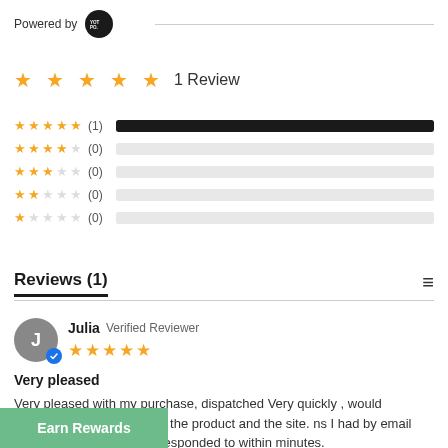[Figure (logo): YotPo logo — dark circle with YOT PO. text in white]
Powered by [YotPo logo]
[Figure (infographic): 5 gold stars rating summary showing 1 Review]
1 Review
[Figure (bar-chart): Rating distribution]
Reviews (1)
Julia Verified Reviewer
[Figure (infographic): 5 gold stars reviewer rating]
Very pleased
Very pleased with my purchase, dispatched Very quickly , would definitely recommend both the product and the site. ns I had by email before I made my pu ere responded to within minutes.
Earn Rewards